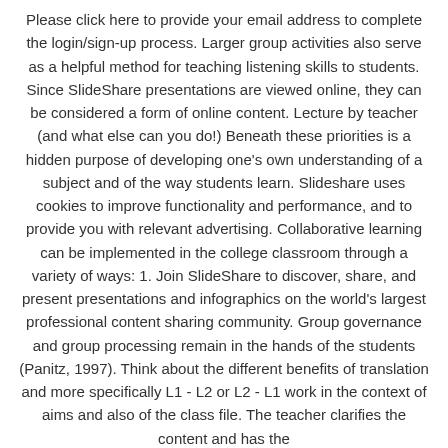Please click here to provide your email address to complete the login/sign-up process. Larger group activities also serve as a helpful method for teaching listening skills to students. Since SlideShare presentations are viewed online, they can be considered a form of online content. Lecture by teacher (and what else can you do!) Beneath these priorities is a hidden purpose of developing one's own understanding of a subject and of the way students learn. Slideshare uses cookies to improve functionality and performance, and to provide you with relevant advertising. Collaborative learning can be implemented in the college classroom through a variety of ways: 1. Join SlideShare to discover, share, and present presentations and infographics on the world's largest professional content sharing community. Group governance and group processing remain in the hands of the students (Panitz, 1997). Think about the different benefits of translation and more specifically L1 - L2 or L2 - L1 work in the context of aims and also of the class file. The teacher clarifies the content and has the...